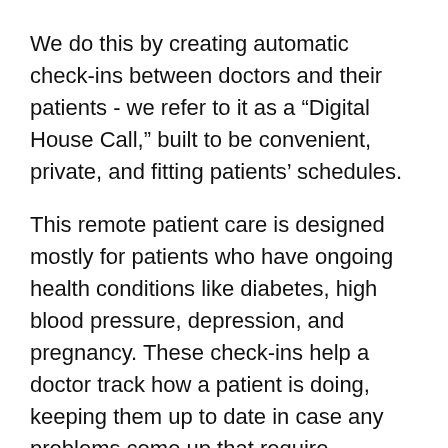We do this by creating automatic check-ins between doctors and their patients - we refer to it as a “Digital House Call,” built to be convenient, private, and fitting patients’ schedules.
This remote patient care is designed mostly for patients who have ongoing health conditions like diabetes, high blood pressure, depression, and pregnancy. These check-ins help a doctor track how a patient is doing, keeping them up to date in case any problems come up that require intervention.
We are unique in that CAREMINDr performs at least 15 key patient care tasks typical to a doctor checking in with a patient who has a condition that lasts for an extended period (source).